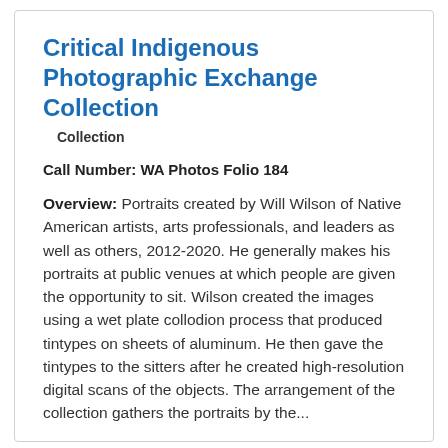Critical Indigenous Photographic Exchange Collection
Collection
Call Number: WA Photos Folio 184
Overview: Portraits created by Will Wilson of Native American artists, arts professionals, and leaders as well as others, 2012-2020. He generally makes his portraits at public venues at which people are given the opportunity to sit. Wilson created the images using a wet plate collodion process that produced tintypes on sheets of aluminum. He then gave the tintypes to the sitters after he created high-resolution digital scans of the objects. The arrangement of the collection gathers the portraits by the...